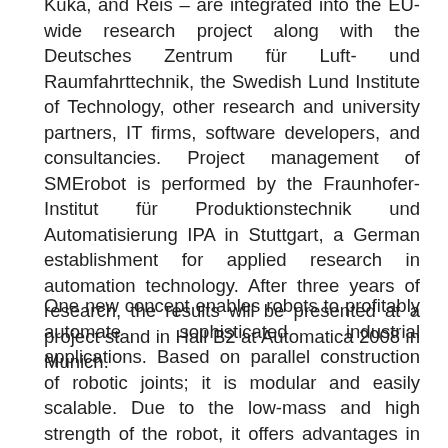Kuka, and Reis – are integrated into the EU-wide research project along with the Deutsches Zentrum für Luft- und Raumfahrttechnik, the Swedish Lund Institute of Technology, other research and university partners, IT firms, software developers, and consultancies. Project management of SMErobot is performed by the Fraunhofer-Institut für Produktionstechnik und Automatisierung IPA in Stuttgart, a German establishment for applied research in automation technology. After three years of research, the results will be presented at a project stand in Hall B2 at Automatica 2008 in Munich.
One new concept enables robots to profitably automate sophisticated industrial applications. Based on parallel construction of robotic joints; it is modular and easily scalable. Due to the low-mass and high strength of the robot, it offers advantages in processing workpieces, and in assembly and handling. A prototype will demonstrate cleaning and processing of cast steel components.
A new operation and programming concept for the Kuka light-construction robot promises interactive forms of co-operation for human and machine. A lightweight robot was